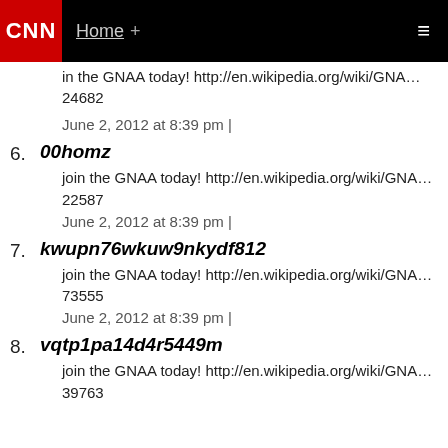CNN | Home +
in the GNAA today! http://en.wikipedia.org/wiki/GNA…
24682
June 2, 2012 at 8:39 pm |
6. 00homz
join the GNAA today! http://en.wikipedia.org/wiki/GNA…
22587
June 2, 2012 at 8:39 pm |
7. kwupn76wkuw9nkydf812
join the GNAA today! http://en.wikipedia.org/wiki/GNA…
73555
June 2, 2012 at 8:39 pm |
8. vqtp1pa14d4r5449m
join the GNAA today! http://en.wikipedia.org/wiki/GNA…
39763